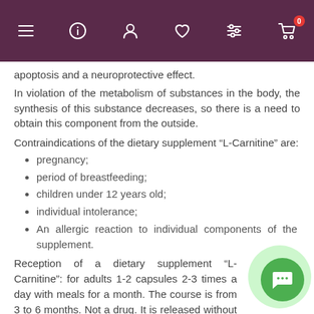Navigation bar with menu, info, profile, wishlist, filter, and cart icons
apoptosis and a neuroprotective effect.
In violation of the metabolism of substances in the body, the synthesis of this substance decreases, so there is a need to obtain this component from the outside.
Contraindications of the dietary supplement “L-Carnitine” are:
pregnancy;
period of breastfeeding;
children under 12 years old;
individual intolerance;
An allergic reaction to individual components of the supplement.
Reception of a dietary supplement “L-Carnitine”: for adults 1-2 capsules 2-3 times a day with meals for a month. The course is from 3 to 6 months. Not a drug. It is released without a doctor’s prescription.
Shelf life: 24 months.